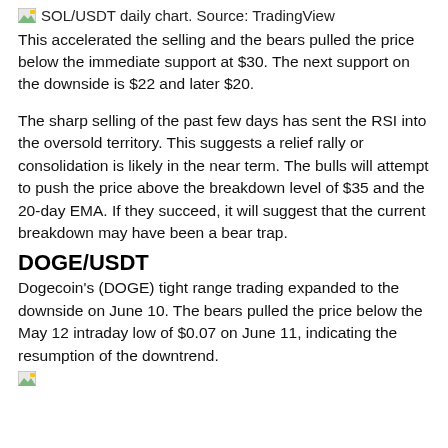SOL/USDT daily chart. Source: TradingView
This accelerated the selling and the bears pulled the price below the immediate support at $30. The next support on the downside is $22 and later $20.
The sharp selling of the past few days has sent the RSI into the oversold territory. This suggests a relief rally or consolidation is likely in the near term. The bulls will attempt to push the price above the breakdown level of $35 and the 20-day EMA. If they succeed, it will suggest that the current breakdown may have been a bear trap.
DOGE/USDT
Dogecoin's (DOGE) tight range trading expanded to the downside on June 10. The bears pulled the price below the May 12 intraday low of $0.07 on June 11, indicating the resumption of the downtrend.
DOGE/USDT daily chart. Source: TradingView